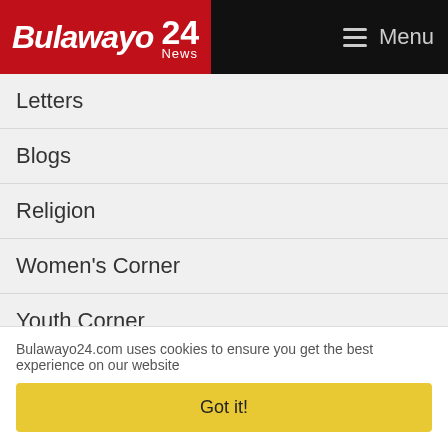Bulawayo 24 News — Menu
Letters
Blogs
Religion
Women's Corner
Youth Corner
WhatsApp Updates
Bereavements
Book Reviews
Entertainment
Music
Bulawayo24.com uses cookies to ensure you get the best experience on our website
Got it!